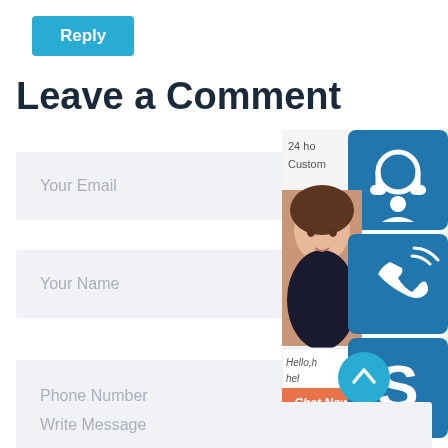Reply
Leave a Comment
Your Email
Your Name
Phone Number
Write Message
[Figure (screenshot): Customer service widget overlay on right side with headset icon, phone icon, Skype icon, customer service representative photo, '24 ho... Custom...' text, 'Hello, h... hel...' text, and 'Chat Now' orange button]
[Figure (other): Teal circular scroll-to-top button with upward chevron arrow]